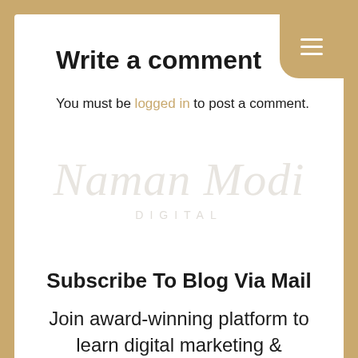Write a comment
You must be logged in to post a comment.
[Figure (logo): Naman Modi Digital watermark logo in light gray script with DIGITAL text below]
Subscribe To Blog Via Mail
Join award-winning platform to learn digital marketing &